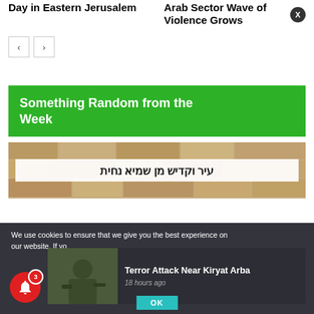Day in Eastern Jerusalem
Arab Sector Wave of Violence Grows
Something Random from the Week
[Figure (photo): Stone wall with Hebrew text sign reading Arabic/Hebrew graffiti]
We use cookies to ensure that we give you the best experience on our website. If yo
Terror Attack Near Kiryat Arba
18 hours ago